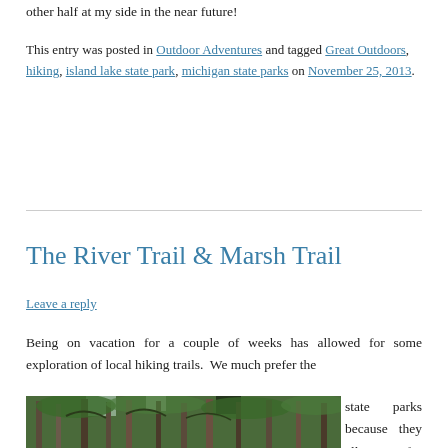other half at my side in the near future!
This entry was posted in Outdoor Adventures and tagged Great Outdoors, hiking, island lake state park, michigan state parks on November 25, 2013.
The River Trail & Marsh Trail
Leave a reply
Being on vacation for a couple of weeks has allowed for some exploration of local hiking trails.  We much prefer the state parks because they allow for more
[Figure (photo): Forest photo showing tall trees and green foliage]